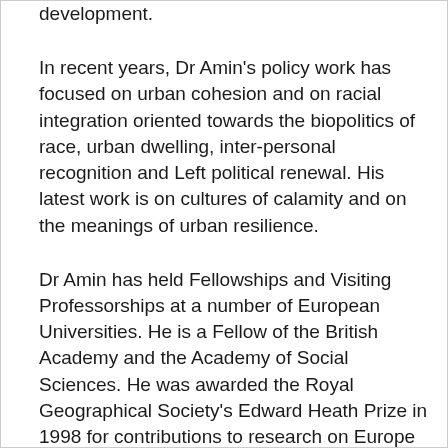development.
In recent years, Dr Amin's policy work has focused on urban cohesion and on racial integration oriented towards the biopolitics of race, urban dwelling, inter-personal recognition and Left political renewal. His latest work is on cultures of calamity and on the meanings of urban resilience.
Dr Amin has held Fellowships and Visiting Professorships at a number of European Universities. He is a Fellow of the British Academy and the Academy of Social Sciences. He was awarded the Royal Geographical Society's Edward Heath Prize in 1998 for contributions to research on Europe and a CBE for his services to Social Science in 2014. He is also a Fellow of Christ's College, Cambridge